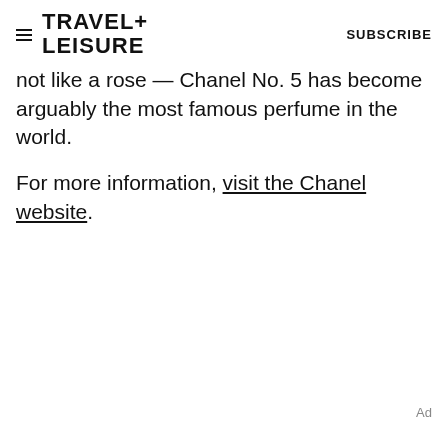TRAVEL+ LEISURE  SUBSCRIBE
not like a rose — Chanel No. 5 has become arguably the most famous perfume in the world.
For more information, visit the Chanel website.
Ad